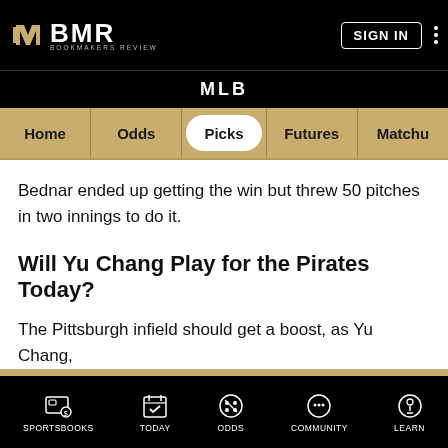BMR BOOKMAKERS REVIEW — SIGN IN
MLB
Home | Odds | Picks | Futures | Matchu
Bednar ended up getting the win but threw 50 pitches in two innings to do it.
Will Yu Chang Play for the Pirates Today?
The Pittsburgh infield should get a boost, as Yu Chang,
Bookmakers Review uses cookies to help us improve your experience in accordance with our Privacy Policy.
ACCEPT & CLOSE
SPORTSBOOKS | TODAY | ODDS | COMMUNITY | LEARN